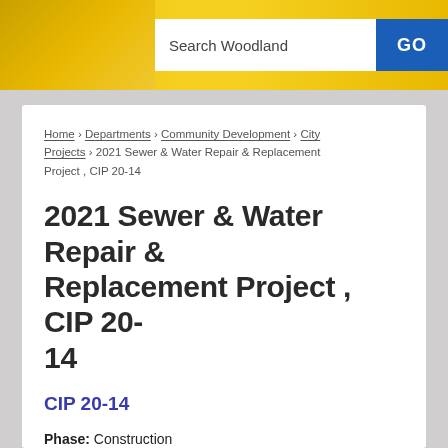Search Woodland  GO
Home › Departments › Community Development › City Projects › 2021 Sewer & Water Repair & Replacement Project , CIP 20-14
2021 Sewer & Water Repair & Replacement Project , CIP 20-14
CIP 20-14
Phase:  Construction
Contractor:  Wahlund Construction, Inc.
Anticipated Completion:  Spring 2022